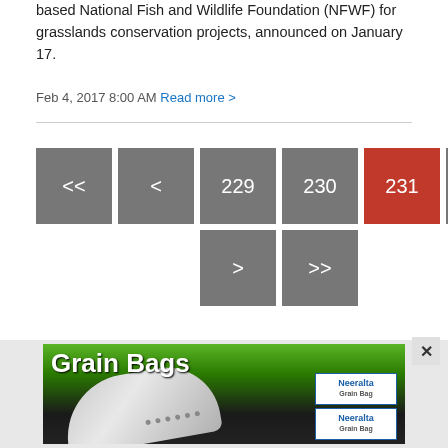based National Fish and Wildlife Foundation (NFWF) for grasslands conservation projects, announced on January 17.
Feb 4, 2017 8:00 AM Read more >
[Figure (infographic): Pagination navigation with buttons: <<, <, 229, 230, 231 (active/red), 232, 233, 234, >, >>]
[Figure (infographic): Advertisement banner for Grain Bags product, showing a silver grain bag and product boxes with Neeralta branding]